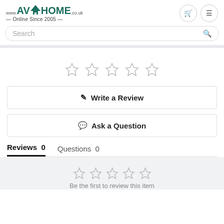[Figure (logo): AV4Home logo with house icon and text 'www.AV4HOME.co.uk — Online Since 2005 —']
Search
[Figure (other): Five empty star rating icons]
✎  Write a Review
✉  Ask a Question
Reviews  0     Questions  0
[Figure (other): Five empty star rating icons (smaller)]
Be the first to review this item